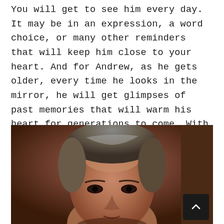You will get to see him every day. It may be in an expression, a word choice, or many other reminders that will keep him close to your heart. And for Andrew, as he gets older, every time he looks in the mirror, he will get glimpses of past memories that will warm his heart for generations to come. With an angel on his shoulder.
[Figure (photo): Portrait photograph of a man with gray-brown hair, showing his face and forehead. The photo has warm, brownish-orange tones typical of an older print photograph.]